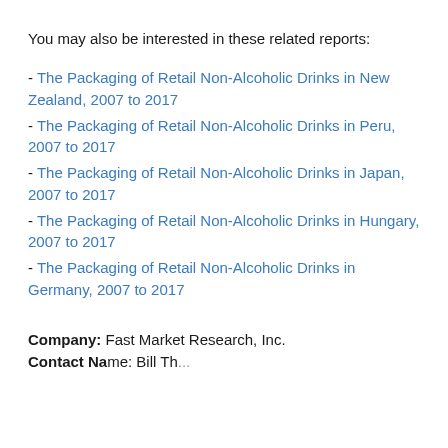You may also be interested in these related reports:
- The Packaging of Retail Non-Alcoholic Drinks in New Zealand, 2007 to 2017
- The Packaging of Retail Non-Alcoholic Drinks in Peru, 2007 to 2017
- The Packaging of Retail Non-Alcoholic Drinks in Japan, 2007 to 2017
- The Packaging of Retail Non-Alcoholic Drinks in Hungary, 2007 to 2017
- The Packaging of Retail Non-Alcoholic Drinks in Germany, 2007 to 2017
Company: Fast Market Research, Inc.
Contact Name: Bill Th...